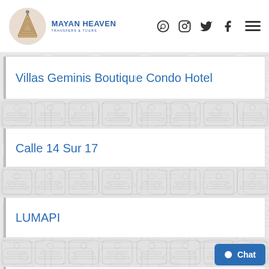[Figure (logo): Mayan Heaven Transfers & Tours logo with pyramid icon in circular emblem, blue text]
Villas Geminis Boutique Condo Hotel
Calle 14 Sur 17
LUMAPI
Aloft Tulum